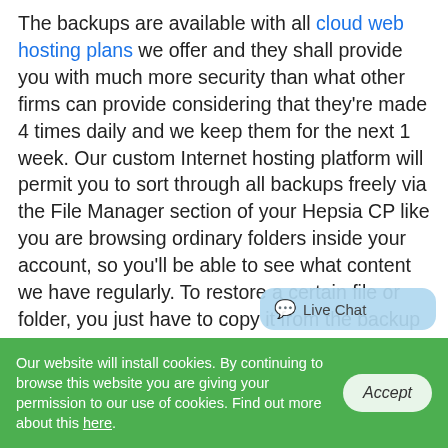The backups are available with all cloud web hosting plans we offer and they shall provide you with much more security than what other firms can provide considering that they're made 4 times daily and we keep them for the next 1 week. Our custom Internet hosting platform will permit you to sort through all backups freely via the File Manager section of your Hepsia CP like you are browsing ordinary folders inside your account, so you'll be able to see what content we have regularly. To restore a certain file or folder, you just have to copy it from the backup directory to the active domain directory, which is a thing someone without any experience can do with a couple of clicks. The timestamp of each backup folder shall let you know when it was created, so you can restore the exact information you need. With this service, your Internet sites shall be
Live Chat
Our website will install cookies. By continuing to browse this website you are giving your permission to our use of cookies. Find out more about this here.